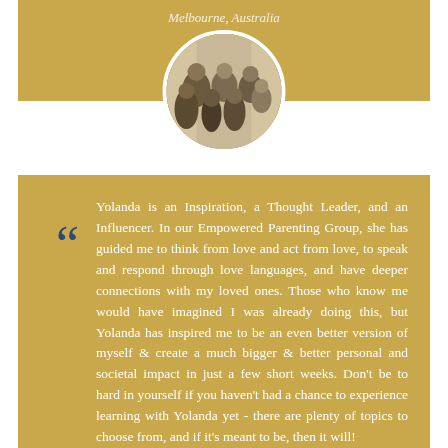Melbourne, Australia
[Figure (photo): Circular family group photo showing several adults and children posed together]
Yolanda is an Inspiration, a Thought Leader, and an Influencer. In our Empowered Parenting Group, she has guided me to think from love and act from love, to speak and respond through love languages, and have deeper connections with my loved ones. Those who know me would have imagined I was already doing this, but Yolanda has inspired me to be an even better version of myself & create a much bigger & better personal and societal impact in just a few short weeks. Don't be to hard in yourself if you haven't had a chance to experience learning with Yolanda yet - there are plenty of topics to choose from, and if it's meant to be, then it will!